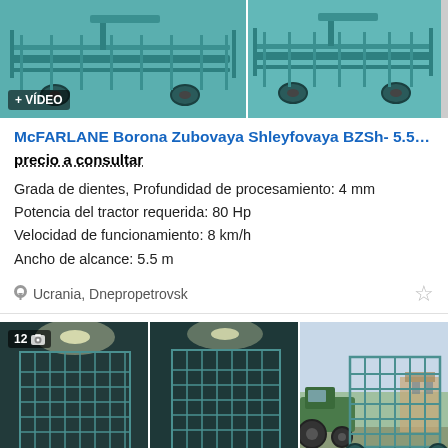[Figure (photo): Two teal/turquoise agricultural harrow machines (McFARLANE BZSh) on a white background, side by side. Left image has a '+ VÍDEO' badge.]
McFARLANE Borona Zubovaya Shleyfovaya BZSh- 5.5 / ...
precio a consultar
Grada de dientes, Profundidad de procesamiento: 4 mm
Potencia del tractor requerida: 80 Hp
Velocidad de funcionamiento: 8 km/h
Ancho de alcance: 5.5 m
Ucrania, Dnepropetrovsk
[Figure (photo): Three photos of a McFARLANE agricultural harrow in an indoor warehouse and in outdoor field use. First image has a count badge '12' with camera icon and '+ VÍDEO' badge.]